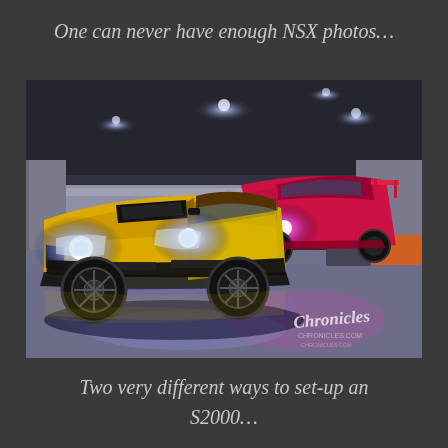One can never have enough NSX photos…
[Figure (photo): Two modified sports cars (a yellow Honda S2000 and a red/magenta Honda S2000) photographed inside an indoor car show venue with dramatic lighting. The yellow car is in the foreground with headlights on, the red car behind it. A photographer watermark reads 'Chronicles' in the bottom right corner.]
Two very different ways to set-up an S2000…